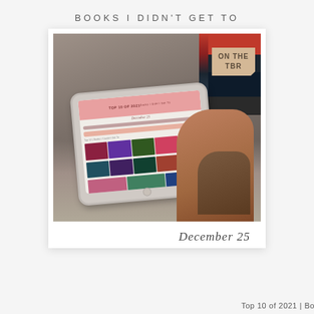BOOKS I DIDN'T GET TO
[Figure (photo): Person sitting with a tablet showing a 'Top 10 of 2021 Books I Didn't Get To' journal page with book covers. A stylus is held in hand. Books visible in background. A torn-edge polaroid-style frame with 'ON THE TBR' tag overlay and 'December 25' written at the bottom.]
Top 10 of 2021 | Books I Didn't Get T...